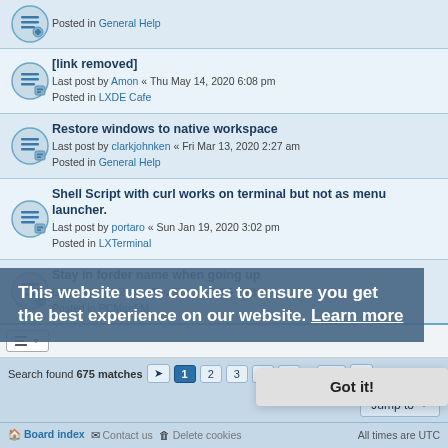Posted in General Help
[link removed]
Last post by Amon « Thu May 14, 2020 6:08 pm
Posted in LXDE Cafe
Restore windows to native workspace
Last post by clarkjohnken « Fri Mar 13, 2020 2:27 am
Posted in General Help
Shell Script with curl works on terminal but not as menu launcher.
Last post by portaro « Sun Jan 19, 2020 3:02 pm
Posted in LXTerminal
Stay in forder name when going up
Last post by lv2eof « Thu Jan 16, 2020 7:28 pm
Posted in PCManFM
Search found 675 matches
1 2 3 4 5 ... 27
This website uses cookies to ensure you get the best experience on our website. Learn more
Got it!
Jump to
Board index   Contact us   Delete cookies   All times are UTC
Powered by phpBB® Forum Software © phpBB Limited
Privacy | Terms